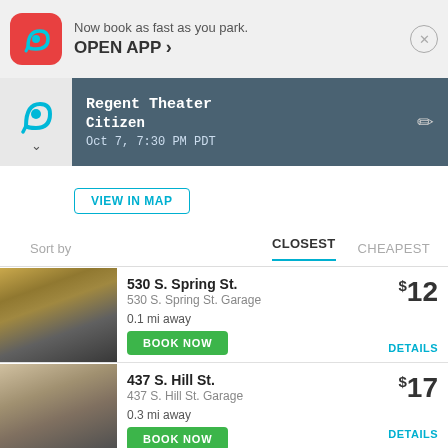[Figure (screenshot): ParkWhiz app promotional banner with app icon, text 'Now book as fast as you park. OPEN APP ›', and a close button]
Now book as fast as you park.
OPEN APP ›
[Figure (screenshot): Event header with ParkWhiz logo, showing Regent Theater Citizen event on Oct 7, 7:30 PM PDT with edit icon]
Regent Theater
Citizen
Oct 7, 7:30 PM PDT
VIEW IN MAP
Sort by   CLOSEST   CHEAPEST
530 S. Spring St. | 530 S. Spring St. Garage | 0.1 mi away | $12 | BOOK NOW | DETAILS
437 S. Hill St. | 437 S. Hill St. Garage | 0.3 mi away | $17 | BOOK NOW | DETAILS